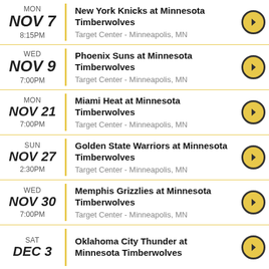MON NOV 7 8:15PM — New York Knicks at Minnesota Timberwolves — Target Center - Minneapolis, MN
WED NOV 9 7:00PM — Phoenix Suns at Minnesota Timberwolves — Target Center - Minneapolis, MN
MON NOV 21 7:00PM — Miami Heat at Minnesota Timberwolves — Target Center - Minneapolis, MN
SUN NOV 27 2:30PM — Golden State Warriors at Minnesota Timberwolves — Target Center - Minneapolis, MN
WED NOV 30 7:00PM — Memphis Grizzlies at Minnesota Timberwolves — Target Center - Minneapolis, MN
SAT DEC 3 — Oklahoma City Thunder at Minnesota Timberwolves